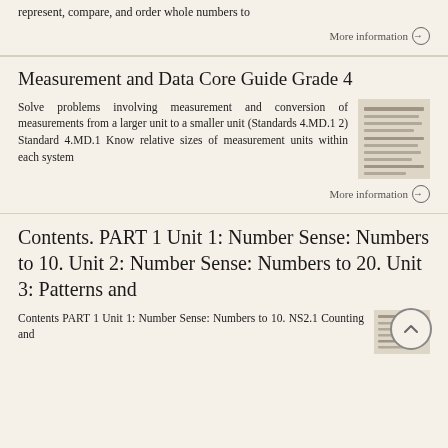represent, compare, and order whole numbers to
More information →
Measurement and Data Core Guide Grade 4
Solve problems involving measurement and conversion of measurements from a larger unit to a smaller unit (Standards 4.MD.1 2) Standard 4.MD.1 Know relative sizes of measurement units within each system
[Figure (illustration): Thumbnail image of a document page showing lined text content]
More information →
Contents. PART 1 Unit 1: Number Sense: Numbers to 10. Unit 2: Number Sense: Numbers to 20. Unit 3: Patterns and
Contents PART 1 Unit 1: Number Sense: Numbers to 10. NS2.1 Counting and
[Figure (illustration): Thumbnail image of a table of contents page]